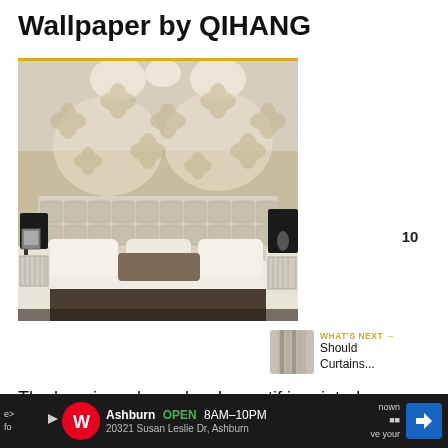Wallpaper by QIHANG
[Figure (photo): Luxury bedroom with damask patterned wallpaper, tufted headboard, white bedding with dark accent pillows, black table lamps on mirrored nightstands]
[Figure (infographic): Heart/like button (gold circle with heart icon) showing count 10, and share button below]
[Figure (photo): What's Next thumbnail showing curtain/wallpaper image with label: Should Curtains...]
The luxurious damask color motif is printed on
[Figure (screenshot): Advertisement bar: Walgreens Ashburn OPEN 8AM-10PM 20321 Susan Leslie Dr, Ashburn with navigation arrow icon]